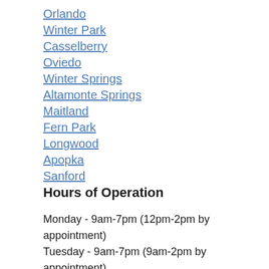Orlando
Winter Park
Casselberry
Oviedo
Winter Springs
Altamonte Springs
Maitland
Fern Park
Longwood
Apopka
Sanford
Hours of Operation
Monday - 9am-7pm (12pm-2pm by appointment)
Tuesday - 9am-7pm (9am-2pm by appointment)